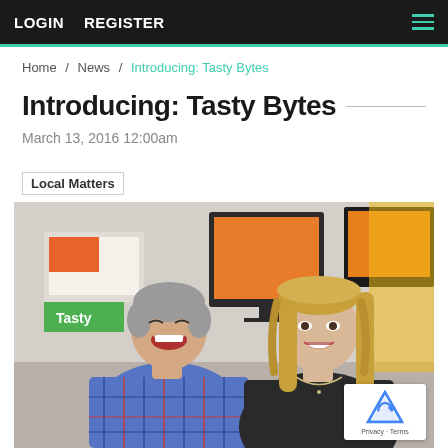LOGIN   REGISTER
Home / News / Introducing: Tasty Bytes
Introducing: Tasty Bytes
March 13, 2016 12:00am
Local Matters
[Figure (photo): Two people smiling in an office environment. A man on the left wearing a blue plaid shirt with grey hair, and a woman on the right with long blonde hair wearing a black top. Computer monitors and colorful office elements visible in the background. A partial 'Tasty' logo sign is visible behind the man.]